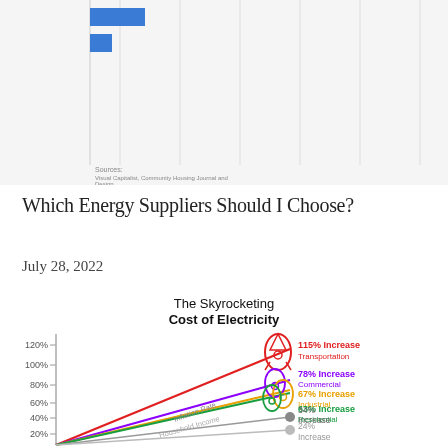[Figure (bar-chart): Partial bar chart visible at top of page, showing blue horizontal bars on light gray background with vertical gridlines. Source note partially visible at bottom.]
Which Energy Suppliers Should I Choose?
July 28, 2022
[Figure (line-chart): Line chart showing percentage increases in electricity costs for Transportation (115% Increase, red), Commercial (78% Increase, purple), Industrial (67% Increase, orange), Residential (63% Increase, green), Inflation Rate (34% Increase, gray), and Household Income (24% Increase, gray). Each line is accompanied by a rocket illustration. Y-axis shows 20%, 40%, 60%, 80%, 100%, 120%.]